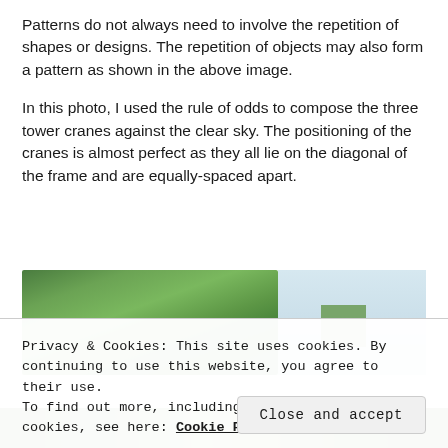Patterns do not always need to involve the repetition of shapes or designs. The repetition of objects may also form a pattern as shown in the above image.
In this photo, I used the rule of odds to compose the three tower cranes against the clear sky. The positioning of the cranes is almost perfect as they all lie on the diagonal of the frame and are equally-spaced apart.
[Figure (photo): Partial view of a photo showing leafy green trees on the left portion and a light sky on the right, with a small green structure visible in the sky area. A second strip of greenery is visible at the bottom of the page.]
Privacy & Cookies: This site uses cookies. By continuing to use this website, you agree to their use.
To find out more, including how to control cookies, see here: Cookie Policy